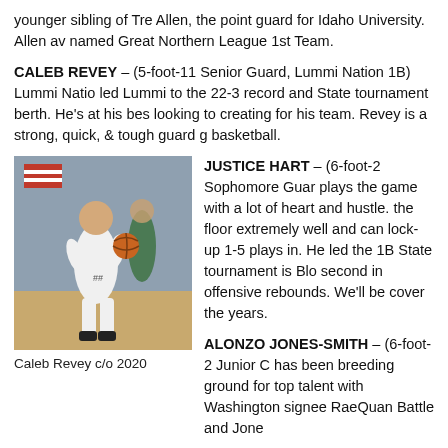younger sibling of Tre Allen, the point guard for Idaho University. Allen av named Great Northern League 1st Team.
CALEB REVEY – (5-foot-11 Senior Guard, Lummi Nation 1B) Lummi Natio led Lummi to the 22-3 record and State tournament berth. He's at his bes looking to creating for his team. Revey is a strong, quick, & tough guard g basketball.
[Figure (photo): Basketball player in white uniform driving to the basket during a game, with an American flag visible in the background.]
Caleb Revey c/o 2020
JUSTICE HART – (6-foot-2 Sophomore Guar plays the game with a lot of heart and hustle. the floor extremely well and can lock-up 1-5 plays in. He led the 1B State tournament is Blo second in offensive rebounds. We'll be cover the years.
ALONZO JONES-SMITH – (6-foot-2 Junior C has been breeding ground for top talent with Washington signee RaeQuan Battle and Jone Smith was Northwest 1B 1st-Team All-League.
PRIMA TER DALE – (Sophomore Guard, Yakama Tribal 1B) He led...